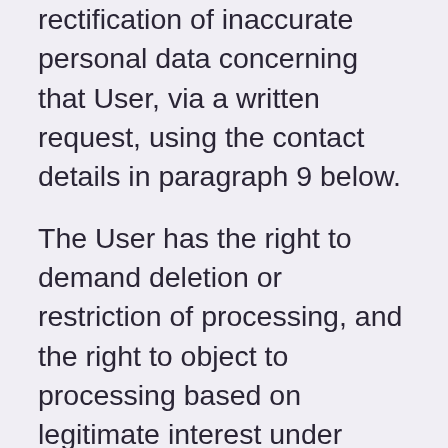rectification of inaccurate personal data concerning that User, via a written request, using the contact details in paragraph 9 below.
The User has the right to demand deletion or restriction of processing, and the right to object to processing based on legitimate interest under certain circumstances.
The User has the right to revoke any consent to processing that has been given by the User to Controller. Using this right may however, mean that the User can not apply for a specific job or